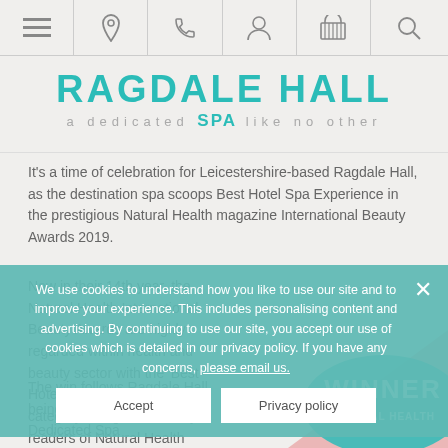Navigation bar with menu, location, phone, account, cart, and search icons
RAGDALE HALL a dedicated SPA like no other
It's a time of celebration for Leicestershire-based Ragdale Hall, as the destination spa scoops Best Hotel Spa Experience in the prestigious Natural Health magazine International Beauty Awards 2019.
Now in their 14th year, the Natural Health International Beauty Awards are highly regarded within health and beauty sector with the 'Best Hotel Spa Experience' category being voted for by readers of Natural Health magazine.
The win follows Ragdale Hall being recently awarded 'Best Dedicated Spa
We use cookies to understand how you like to use our site and to improve your experience. This includes personalising content and advertising. By continuing to use our site, you accept our use of cookies which is detailed in our privacy policy. If you have any concerns, please email us.
[Figure (other): WINNER badge for Natural Health International Beauty Awards]